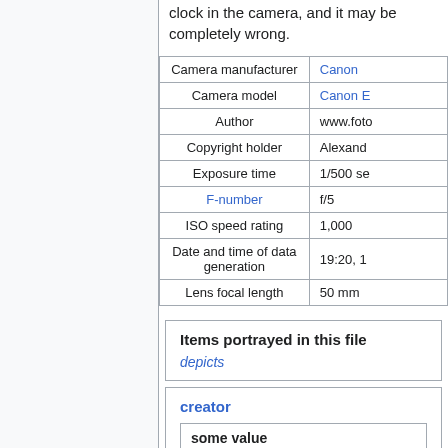clock in the camera, and it may be completely wrong.
|  |  |
| --- | --- |
| Camera manufacturer | Canon |
| Camera model | Canon E |
| Author | www.foto |
| Copyright holder | Alexand |
| Exposure time | 1/500 se |
| F-number | f/5 |
| ISO speed rating | 1,000 |
| Date and time of data generation | 19:20, 1 |
| Lens focal length | 50 mm |
Items portrayed in this file
depicts
creator
some value